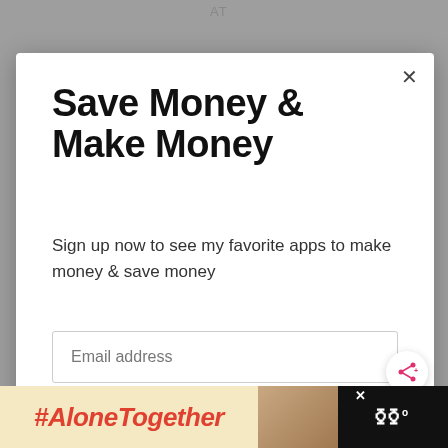AT
Save Money & Make Money
Sign up now to see my favorite apps to make money & save money
Email address
Get It Now
WHAT'S NEXT → 20 Mule Team Borax: 18...
#AloneTogether